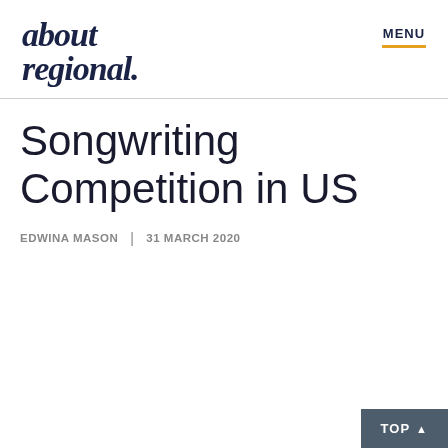about regional | MENU
Songwriting Competition in US
EDWINA MASON | 31 MARCH 2020
TOP ▲